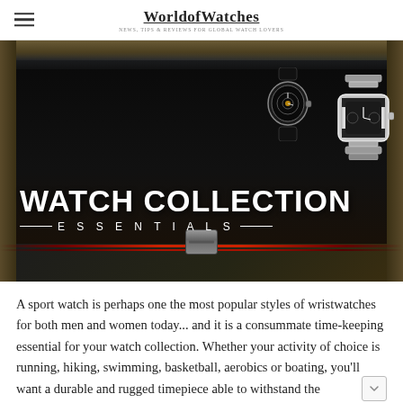WorldofWatches — NEWS, TIPS & REVIEWS FOR GLOBAL WATCH LOVERS
[Figure (photo): A dark luxury watch display box with glass lid open, containing multiple high-end wristwatches on black cushions. Text overlay reads 'WATCH COLLECTION ESSENTIALS' in bold white letters.]
A sport watch is perhaps one the most popular styles of wristwatches for both men and women today... and it is a consummate time-keeping essential for your watch collection. Whether your activity of choice is running, hiking, swimming, basketball, aerobics or boating, you'll want a durable and rugged timepiece able to withstand the